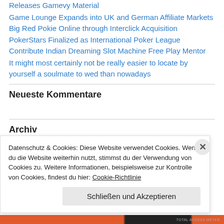Releases Gamevy Material
Game Lounge Expands into UK and German Affiliate Markets Big Red Pokie Online through Interclick Acquisition
PokerStars Finalized as International Poker League Contribute Indian Dreaming Slot Machine Free Play Mentor
It might most certainly not be really easier to locate by yourself a soulmate to wed than nowadays
Neueste Kommentare
Archiv
Datenschutz & Cookies: Diese Website verwendet Cookies. Wenn du die Website weiterhin nutzt, stimmst du der Verwendung von Cookies zu. Weitere Informationen, beispielsweise zur Kontrolle von Cookies, findest du hier: Cookie-Richtlinie
Schließen und Akzeptieren